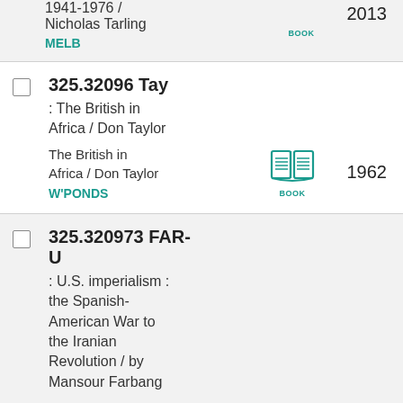1941-1976 / Nicholas Tarling MELB 2013
325.32096 Tay : The British in Africa / Don Taylor — The British in Africa / Don Taylor W'PONDS BOOK 1962
325.320973 FAR-U : U.S. imperialism : the Spanish-American War to the Iranian Revolution / by Mansour Farbang